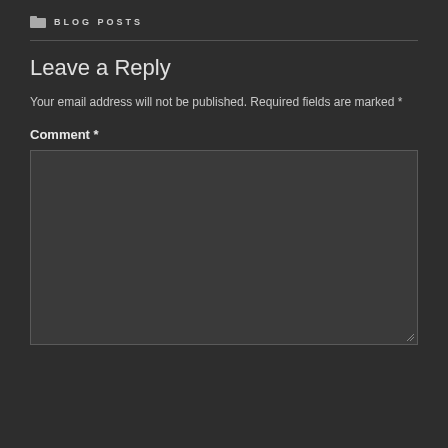BLOG POSTS
Leave a Reply
Your email address will not be published. Required fields are marked *
Comment *